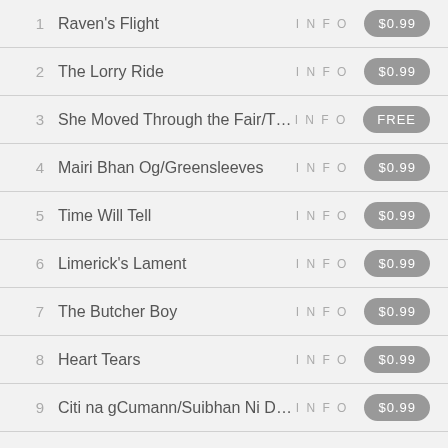1   Raven's Flight   INFO   $0.99
2   The Lorry Ride   INFO   $0.99
3   She Moved Through the Fair/Th...   INFO   FREE
4   Mairi Bhan Og/Greensleeves   INFO   $0.99
5   Time Will Tell   INFO   $0.99
6   Limerick's Lament   INFO   $0.99
7   The Butcher Boy   INFO   $0.99
8   Heart Tears   INFO   $0.99
9   Citi na gCumann/Suibhan Ni Dh...   INFO   $0.99